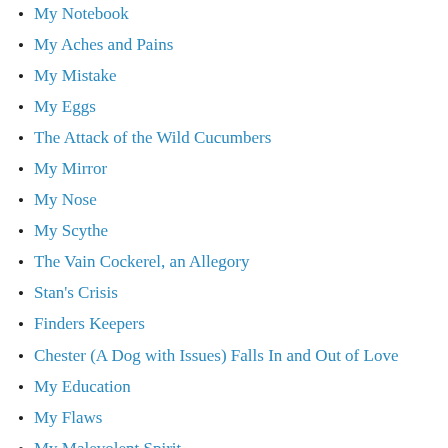My Notebook
My Aches and Pains
My Mistake
My Eggs
The Attack of the Wild Cucumbers
My Mirror
My Nose
My Scythe
The Vain Cockerel, an Allegory
Stan's Crisis
Finders Keepers
Chester (A Dog with Issues) Falls In and Out of Love
My Education
My Flaws
My Malevolent Spirit